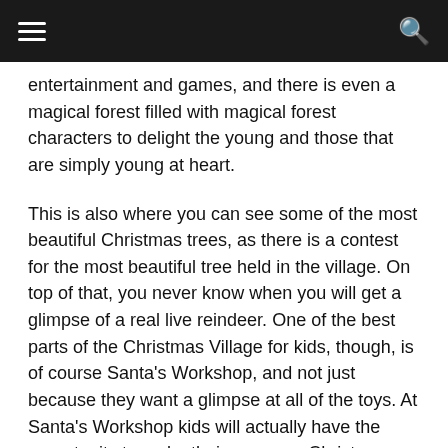≡  🔍
entertainment and games, and there is even a magical forest filled with magical forest characters to delight the young and those that are simply young at heart.
This is also where you can see some of the most beautiful Christmas trees, as there is a contest for the most beautiful tree held in the village. On top of that, you never know when you will get a glimpse of a real live reindeer. One of the best parts of the Christmas Village for kids, though, is of course Santa's Workshop, and not just because they want a glimpse at all of the toys. At Santa's Workshop kids will actually have the opportunity to make their very own Christmas gifts to give away to others. This is a great way to teach children what Christmas is really all about. A Christmas holiday in Montreux is definitely not complete without heading up to the events of a certain the Christmas Village.